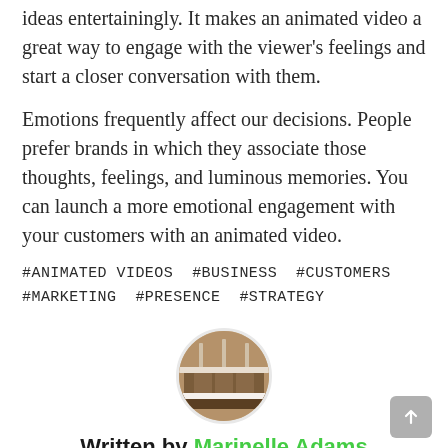ideas entertainingly. It makes an animated video a great way to engage with the viewer’s feelings and start a closer conversation with them.
Emotions frequently affect our decisions. People prefer brands in which they associate those thoughts, feelings, and luminous memories. You can launch a more emotional engagement with your customers with an animated video.
#ANIMATED VIDEOS #BUSINESS #CUSTOMERS #MARKETING #PRESENCE #STRATEGY
[Figure (photo): Circular avatar photo of a room interior with wooden furniture, used as author profile image]
Written by Marinelle Adams